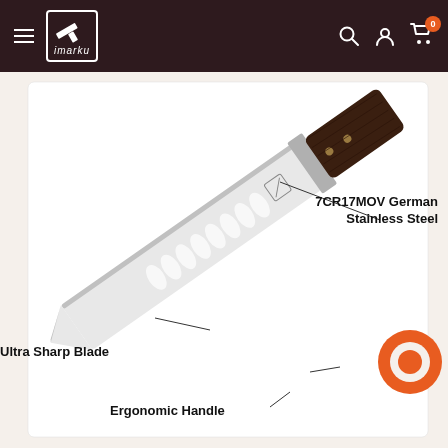[Figure (screenshot): imarku brand website header with dark brown background, hamburger menu, logo with knife icon, search, user, and cart icons]
[Figure (photo): imarku steak knife with silver blade showing scalloped edge, dark wood ergonomic handle, labeled with annotations: 7CR17MOV German Stainless Steel, Ultra Sharp Blade, Ergonomic Handle, Best (partially obscured by chat widget)]
7CR17MOV German Stainless Steel
Ultra Sharp Blade
Ergonomic Handle
Best